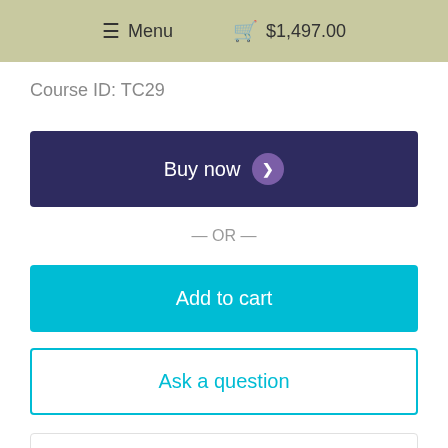≡ Menu  🛒 $1,497.00
Course ID: TC29
Buy now ❯
— OR —
Add to cart
Ask a question
Overview
R...